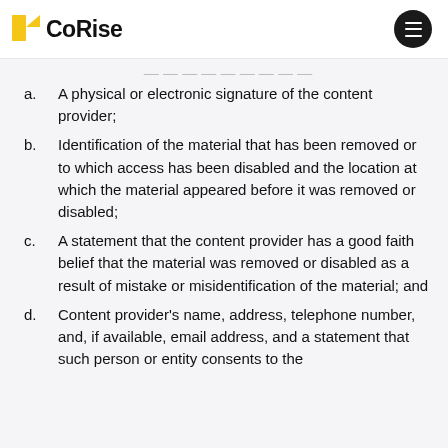CoRise
a.  A physical or electronic signature of the content provider;
b.  Identification of the material that has been removed or to which access has been disabled and the location at which the material appeared before it was removed or disabled;
c.  A statement that the content provider has a good faith belief that the material was removed or disabled as a result of mistake or misidentification of the material; and
d.  Content provider's name, address, telephone number, and, if available, email address, and a statement that such person or entity consents to the jurisdiction of the Federal Court for th...